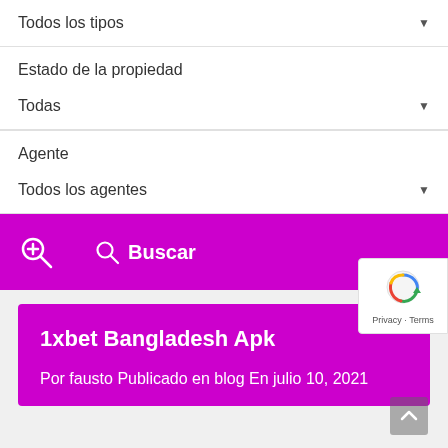Todos los tipos
Estado de la propiedad
Todas
Agente
Todos los agentes
[Figure (screenshot): Purple banner with zoom search icon on left and Buscar (search) button with icon on right]
[Figure (screenshot): Google reCAPTCHA badge with Privacy and Terms links]
1xbet Bangladesh Apk
Por fausto Publicado en blog En julio 10, 2021